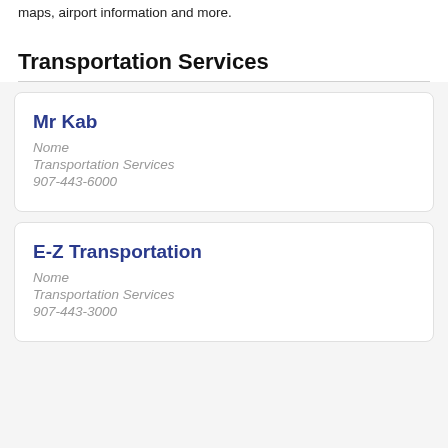maps, airport information and more.
Transportation Services
Mr Kab
Nome
Transportation Services
907-443-6000
E-Z Transportation
Nome
Transportation Services
907-443-3000